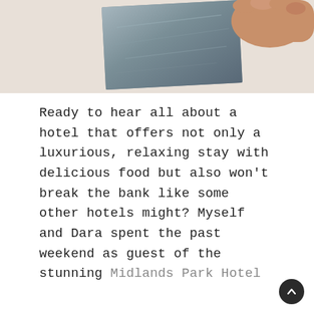[Figure (photo): A hand holding what appears to be a card or slate material, photographed from above against a light background.]
Ready to hear all about a hotel that offers not only a luxurious, relaxing stay with delicious food but also won't break the bank like some other hotels might?  Myself and  Dara spent the past weekend as guest of the stunning Midlands Park Hotel and  I was so excited to share this gem of a hotel with you all that  I actually started working on this blog post as soon as  I got home from our trip to  Portlaoise!  When  I mentioned on my  Instagram story that we were heading up to the  Midlands  Park Hotel, straight away  I had at least 5 messages all raving about the hotel, which actually doesn't happen too often so  I knew we were in a for a